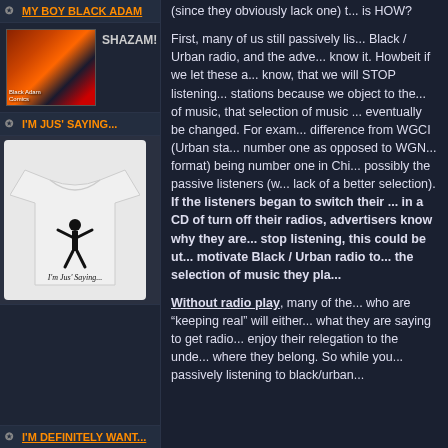MY BOY BLACK ADAM
[Figure (photo): Comic book collage image — multiple comic panels featuring Black Adam character]
SHAZAM!
I'M JUS' SAYING...
[Figure (photo): White t-shirt with silhouette of person and text reading 'I'm Jus' Saying...']
(since they obviously lack one) t... is HOW?

First, many of us still passively lis... Black / Urban radio, and the adve... know it. Howbeit if we let these a... know, that we will STOP listening... stations because we object to the... of music, that selection of music ... eventually be changed. For exam... difference from WGCI (Urban sta... number one as opposed to WGN... format) being number one in Chi... possibly the passive listeners (w... lack of a better selection). If the listeners began to switch their ... in a CD of turn off their radios, advertisers know why they are... stop listening, this could be ut... motivate Black / Urban radio to... the selection of music they pla...

Without radio play, many of the... who are “keeping real” will either... what they are saying to get radio... enjoy their relegation to the unde... where they belong. So while you... passively listening to black/urban...